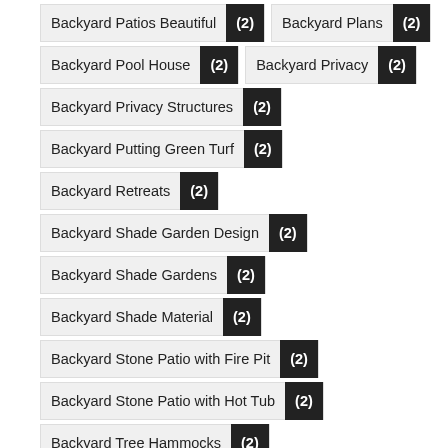Backyard Patios Beautiful (2)
Backyard Plans (2)
Backyard Pool House (2)
Backyard Privacy (2)
Backyard Privacy Structures (2)
Backyard Putting Green Turf (2)
Backyard Retreats (2)
Backyard Shade Garden Design (2)
Backyard Shade Gardens (2)
Backyard Shade Material (2)
Backyard Stone Patio with Fire Pit (2)
Backyard Stone Patio with Hot Tub (2)
Backyard Tree Hammocks (2)
Backyard Tree Houses (2)
Backyard Tree Houses for Kids (2)